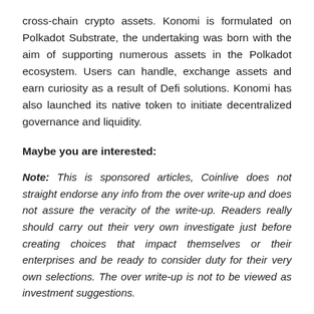cross-chain crypto assets. Konomi is formulated on Polkadot Substrate, the undertaking was born with the aim of supporting numerous assets in the Polkadot ecosystem. Users can handle, exchange assets and earn curiosity as a result of Defi solutions. Konomi has also launched its native token to initiate decentralized governance and liquidity.
Maybe you are interested:
Note: This is sponsored articles, Coinlive does not straight endorse any info from the over write-up and does not assure the veracity of the write-up. Readers really should carry out their very own investigate just before creating choices that impact themselves or their enterprises and be ready to consider duty for their very own selections. The over write-up is not to be viewed as investment suggestions.